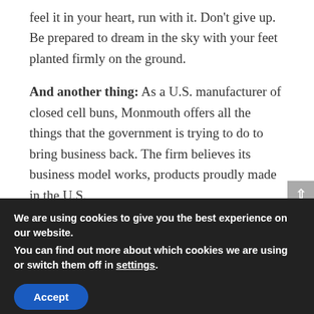feel it in your heart, run with it. Don't give up. Be prepared to dream in the sky with your feet planted firmly on the ground.
And another thing: As a U.S. manufacturer of closed cell buns, Monmouth offers all the things that the government is trying to do to bring business back. The firm believes its business model works, products proudly made in the U.S.
WEBSITE: https://monmouthrubber.com/
We are using cookies to give you the best experience on our website.
You can find out more about which cookies we are using or switch them off in settings.
Accept